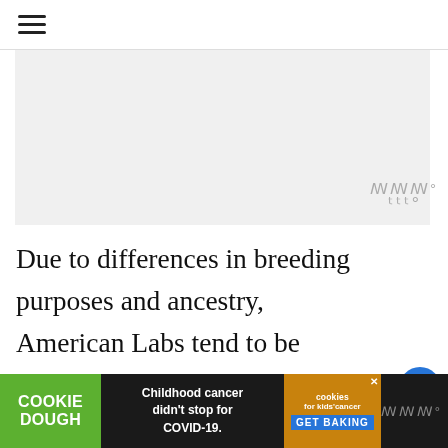☰ (hamburger menu icon)
[Figure (other): Gray advertisement banner placeholder]
Due to differences in breeding purposes and ancestry, American Labs tend to be slimmer with longer legs than their English counterparts and with a more energetic disposition.
English Labs, on the other hand
[Figure (infographic): Bottom advertisement banner: Cookie Dough logo in green, text 'Childhood cancer didn't stop for COVID-19.', cookies for kids cancer badge with GET BAKING button]